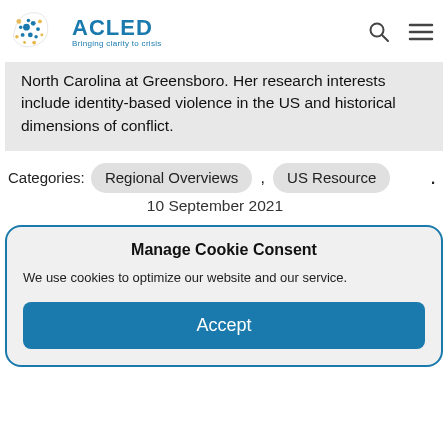ACLED — Bringing clarity to crisis
North Carolina at Greensboro. Her research interests include identity-based violence in the US and historical dimensions of conflict.
Categories: Regional Overviews , US Resource
10 September 2021
Manage Cookie Consent
We use cookies to optimize our website and our service.
Accept